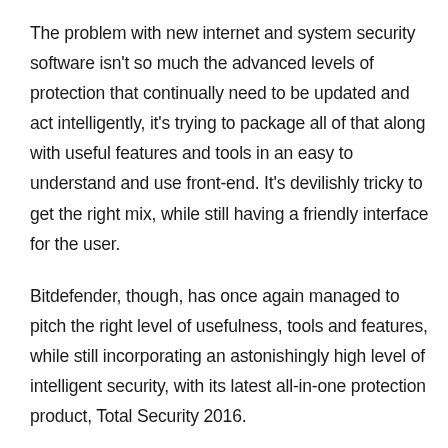The problem with new internet and system security software isn't so much the advanced levels of protection that continually need to be updated and act intelligently, it's trying to package all of that along with useful features and tools in an easy to understand and use front-end. It's devilishly tricky to get the right mix, while still having a friendly interface for the user.
Bitdefender, though, has once again managed to pitch the right level of usefulness, tools and features, while still incorporating an astonishingly high level of intelligent security, with its latest all-in-one protection product, Total Security 2016.